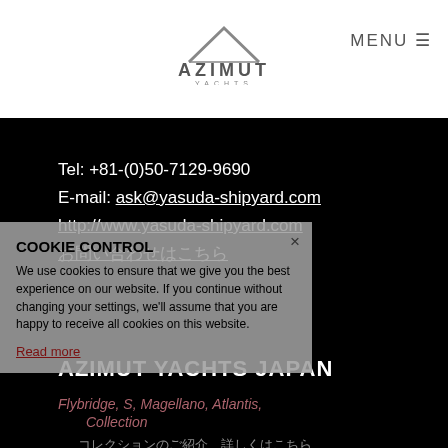[Figure (logo): Azimut Yachts logo with triangular emblem above the word AZIMUT and YACHTS below in grey]
MENU ☰
Tel: +81-(0)50-7129-9690
E-mail: ask@yasuda-shipyard.com
http://www.yasuda-shipyard.com
お問い合わせはこちら
AZIMUT YACHTS JAPAN
Flybridge, S, Magellano, Atlantis
Collection
コレクションのご紹介　詳しくはこちら
COOKIE CONTROL
We use cookies to ensure that we give you the best experience on our website. If you continue without changing your settings, we'll assume that you are happy to receive all cookies on this website.
Read more